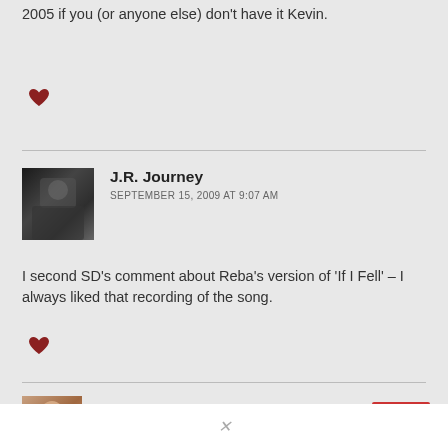2005 if you (or anyone else) don't have it Kevin.
[Figure (illustration): Heart/like icon in dark red]
J.R. Journey
SEPTEMBER 15, 2009 AT 9:07 AM
I second SD’s comment about Reba’s version of ‘If I Fell’ – I always liked that recording of the song.
[Figure (illustration): Heart/like icon in dark red]
Joe